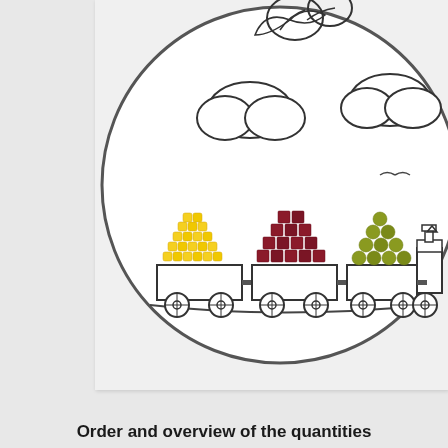[Figure (photo): A white ceramic plate with black illustrated drawings of a steam train pulling three cargo cars, clouds, birds, and leaves. The cargo cars contain real food items arranged on top: yellow corn kernels in a pile on the first car, dark red/maroon cubed food pieces on the second car, and green peas on the third car. The plate has a decorative illustrated scene making food look fun for children.]
Order and overview of the quantities